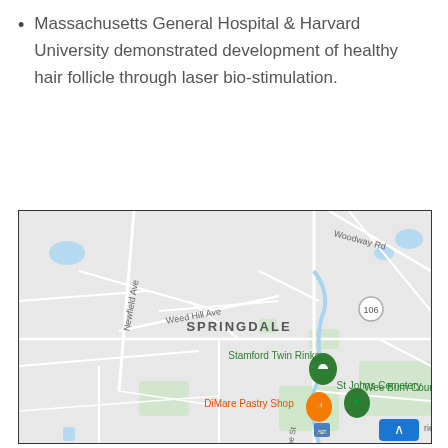Massachusetts General Hospital & Harvard University demonstrated development of healthy hair follicle through laser bio-stimulation.
[Figure (map): Google Maps screenshot showing Springdale area in Stamford, CT. Landmarks visible include Stamford Twin Rinks, St Johns Cemetery, DiMare Pastry Shop, Wee Burn Country Club, with roads Newfield Ave, Weed Hill Ave, Woodway Rd, and route 106 labeled.]